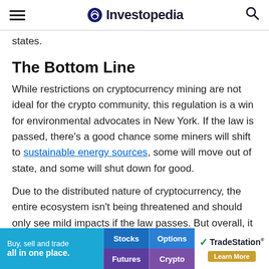Investopedia
states.
The Bottom Line
While restrictions on cryptocurrency mining are not ideal for the crypto community, this regulation is a win for environmental advocates in New York. If the law is passed, there’s a good chance some miners will shift to sustainable energy sources, some will move out of state, and some will shut down for good.
Due to the distributed nature of cryptocurrency, the entire ecosystem isn’t being threatened and should only see mild impacts if the law passes. But overall, it
[Figure (other): TradeStation advertisement banner: Buy, sell and trade all in one place. Stocks, Options, Futures, Crypto buttons, TradeStation logo, Learn More button.]